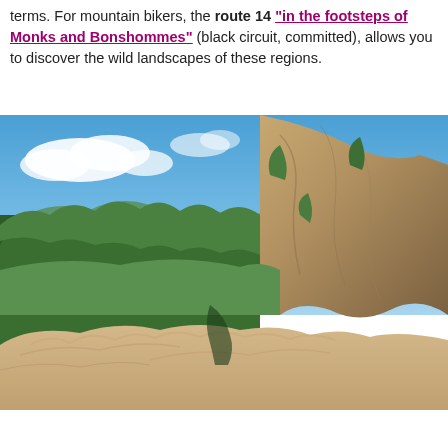terms. For mountain bikers, the route 14 "in the footsteps of Monks and Bonshommes" (black circuit, committed), allows you to discover the wild landscapes of these regions.
[Figure (photo): Landscape photo showing a dramatic rocky cliff face with lush green forested hills and valley below, under a blue sky with white clouds. A limestone rocky foreground ledge is visible at the bottom.]